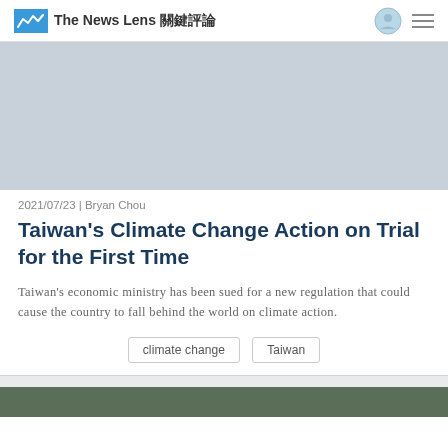The News Lens 關鍵評論
[Figure (photo): Gray placeholder image for article hero photo]
2021/07/23 | Bryan Chou
Taiwan's Climate Change Action on Trial for the First Time
Taiwan's economic ministry has been sued for a new regulation that could cause the country to fall behind the world on climate action.
climate change
Taiwan